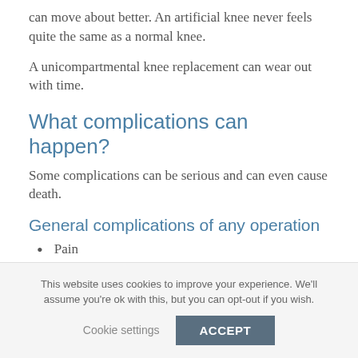can move about better. An artificial knee never feels quite the same as a normal knee.
A unicompartmental knee replacement can wear out with time.
What complications can happen?
Some complications can be serious and can even cause death.
General complications of any operation
Pain
Bleeding
This website uses cookies to improve your experience. We'll assume you're ok with this, but you can opt-out if you wish.
Cookie settings   ACCEPT